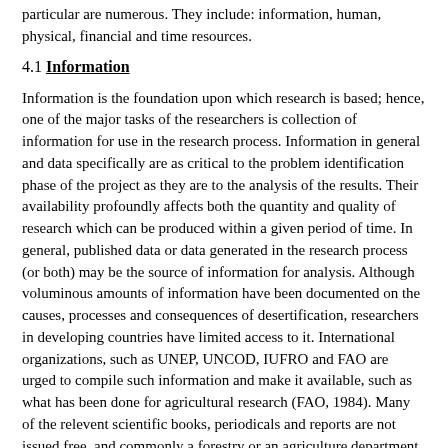particular are numerous. They include: information, human, physical, financial and time resources.
4.1 Information
Information is the foundation upon which research is based; hence, one of the major tasks of the researchers is collection of information for use in the research process. Information in general and data specifically are as critical to the problem identification phase of the project as they are to the analysis of the results. Their availability profoundly affects both the quantity and quality of research which can be produced within a given period of time. In general, published data or data generated in the research process (or both) may be the source of information for analysis. Although voluminous amounts of information have been documented on the causes, processes and consequences of desertification, researchers in developing countries have limited access to it. International organizations, such as UNEP, UNCOD, IUFRO and FAO are urged to compile such information and make it available, such as what has been done for agricultural research (FAO, 1984). Many of the relevent scientific books, periodicals and reports are not issued free, and commonly a forestry or an agriculture department orders only one copy, which then remains in the headquarters and does not circulate to the field staff.
4.2 Human